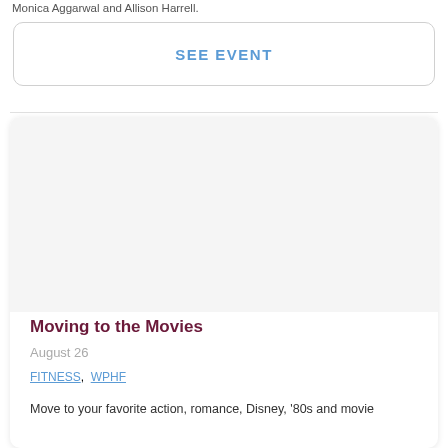Monica Aggarwal and Allison Harrell.
SEE EVENT
Moving to the Movies
August 26
FITNESS,  WPHF
Move to your favorite action, romance, Disney, '80s and movie